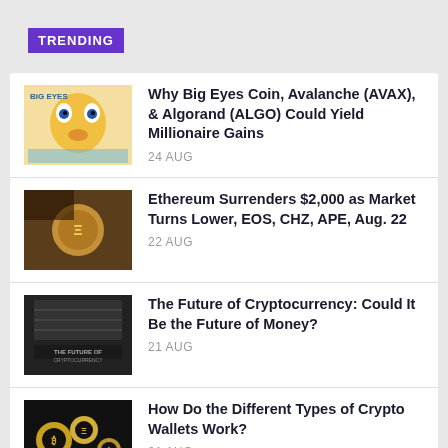TRENDING
Why Big Eyes Coin, Avalanche (AVAX), & Algorand (ALGO) Could Yield Millionaire Gains
24 AUG
Ethereum Surrenders $2,000 as Market Turns Lower, EOS, CHZ, APE, Aug. 22
22 AUG
The Future of Cryptocurrency: Could It Be the Future of Money?
21 AUG
How Do the Different Types of Crypto Wallets Work?
21 AUG
Tornado Cash Has Been Sanctioned and One Developer Has Been Arrested